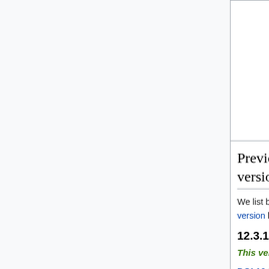|  |  |  |
| --- | --- | --- |
|  |  | • entire CEDS of 1750-201...
• New files for additional N... |
Previously released stable versions
We list below past releases of GEOS-Chem. But we recommend that you always download the current stable version listed above when starting a new research project.
12.3.1
This version was released on 08 Apr 2019.
DOI 10.5281/zenodo.2633278
You can use the following Git commands